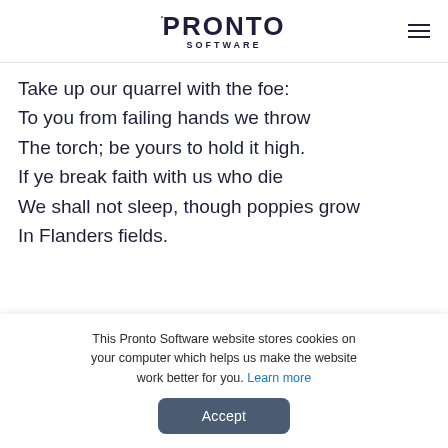PRONTO SOFTWARE
Take up our quarrel with the foe:
To you from failing hands we throw
The torch; be yours to hold it high.
If ye break faith with us who die
We shall not sleep, though poppies grow
In Flanders fields.
John McCrae (1872–1918)
Learn more about the history of silence as a sign of
This Pronto Software website stores cookies on your computer which helps us make the website work better for you. Learn more
Accept